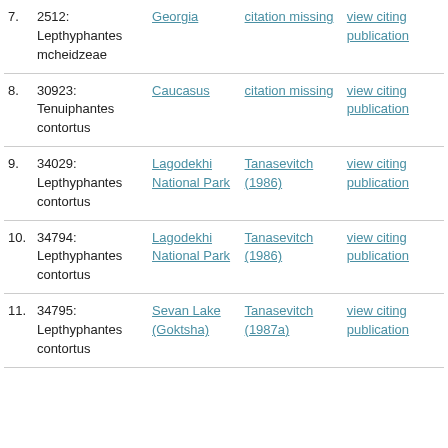| 7. | 2512: Lepthyphantes mcheidzeae | Georgia | citation missing | view citing publication |
| 8. | 30923: Tenuiphantes contortus | Caucasus | citation missing | view citing publication |
| 9. | 34029: Lepthyphantes contortus | Lagodekhi National Park | Tanasevitch (1986) | view citing publication |
| 10. | 34794: Lepthyphantes contortus | Lagodekhi National Park | Tanasevitch (1986) | view citing publication |
| 11. | 34795: Lepthyphantes contortus | Sevan Lake (Goktsha) | Tanasevitch (1987a) | view citing publication |